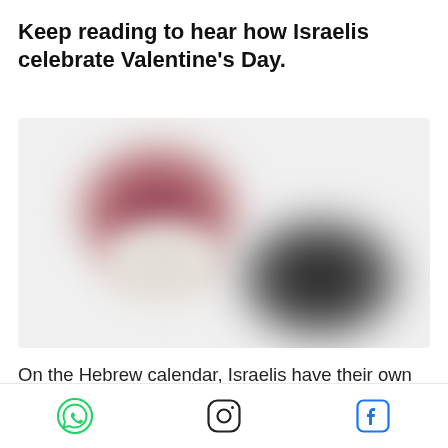Keep reading to hear how Israelis celebrate Valentine's Day.
[Figure (photo): Blurred photo showing two indistinct shapes - a reddish-pink elliptical blob in the upper left and a dark blob in the lower right, on a light background]
On the Hebrew calendar, Israelis have their own day of love - Tu B'Av. Valentines Day is actually not as popular, but due to Anglo influence
WhatsApp | Instagram | Facebook social share icons